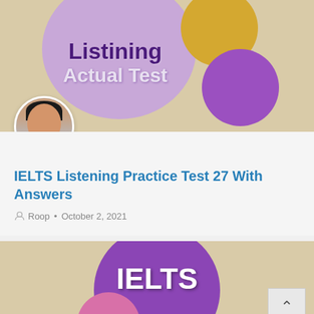[Figure (illustration): Thumbnail image for IELTS Listening Practice Test 27 article, showing 'Listining Actual Test' text on purple circles over a beige background, with a gold circle and dark purple circle.]
IELTS Listening Practice Test 27 With Answers
Roop • October 2, 2021
[Figure (illustration): Thumbnail image showing 'IELTS' text on large purple circle over beige background with pink circle, and EnglishwithRoop.CoM watermark.]